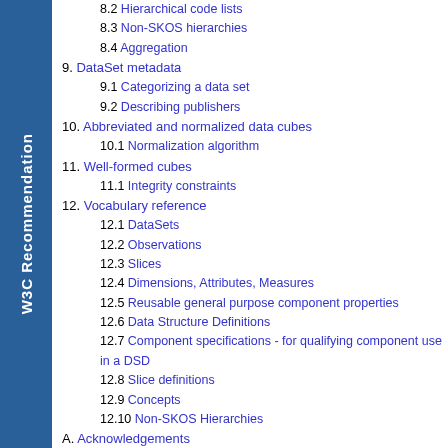8.2 Hierarchical code lists
8.3 Non-SKOS hierarchies
8.4 Aggregation
9. DataSet metadata
9.1 Categorizing a data set
9.2 Describing publishers
10. Abbreviated and normalized data cubes
10.1 Normalization algorithm
11. Well-formed cubes
11.1 Integrity constraints
12. Vocabulary reference
12.1 DataSets
12.2 Observations
12.3 Slices
12.4 Dimensions, Attributes, Measures
12.5 Reusable general purpose component properties
12.6 Data Structure Definitions
12.7 Component specifications - for qualifying component use in a DSD
12.8 Slice definitions
12.9 Concepts
12.10 Non-SKOS Hierarchies
A. Acknowledgements
B. Change history